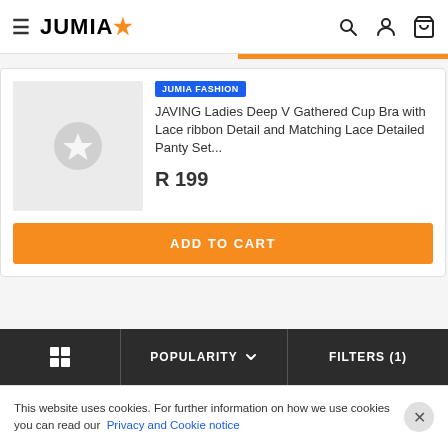JUMIA
[Figure (screenshot): Product image placeholder with star icon for JAVING bra set]
JUMIA FASHION
JAVING Ladies Deep V Gathered Cup Bra with Lace ribbon Detail and Matching Lace Detailed Panty Set...
R 199
ADD TO CART
[Figure (screenshot): Product image placeholder with star icon for JAVING mesh bra]
JUMIA FASHION
JAVING Ladies Sexy Mesh Cut Out No Steel Seamless Push Up Bra, Black
POPULARITY  FILTERS (1)
This website uses cookies. For further information on how we use cookies you can read our Privacy and Cookie notice